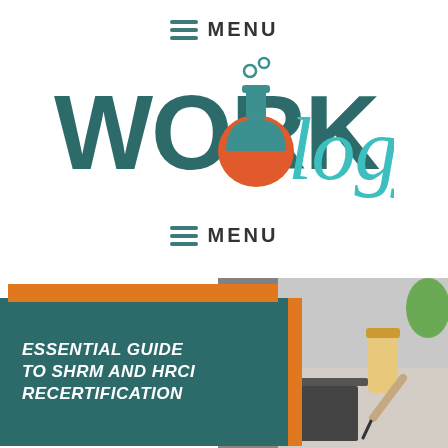MENU
[Figure (logo): Workology logo with flask/beaker icon and stylized script lettering]
MENU
[Figure (photo): Person writing at a desk with a laptop and drinks, overlaid with a teal book cover reading ESSENTIAL GUIDE TO SHRM AND HRCI RECERTIFICATION]